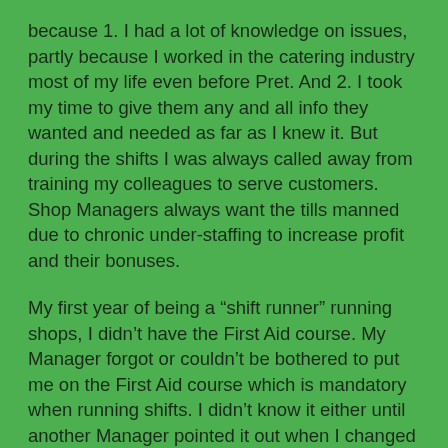because 1. I had a lot of knowledge on issues, partly because I worked in the catering industry most of my life even before Pret. And 2. I took my time to give them any and all info they wanted and needed as far as I knew it. But during the shifts I was always called away from training my colleagues to serve customers. Shop Managers always want the tills manned due to chronic under-staffing to increase profit and their bonuses.
My first year of being a “shift runner” running shops, I didn’t have the First Aid course. My Manager forgot or couldn’t be bothered to put me on the First Aid course which is mandatory when running shifts. I didn’t know it either until another Manager pointed it out when I changed shops. Other times I was asked to cut corners by Management, which I declined. Most of the time we were pressured to sign the yearly training records WITHOUT being trained or re-trained etc. etc.